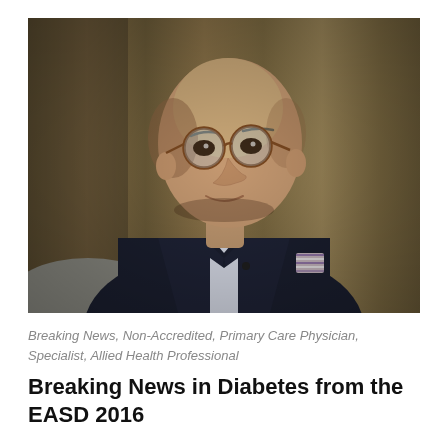[Figure (photo): A middle-aged bald man wearing round tortoiseshell glasses and a dark navy blazer over a light blue shirt, seated in an interview setting with a warm curtained background. He has a striped pocket square.]
Breaking News, Non-Accredited, Primary Care Physician, Specialist, Allied Health Professional
Breaking News in Diabetes from the EASD 2016